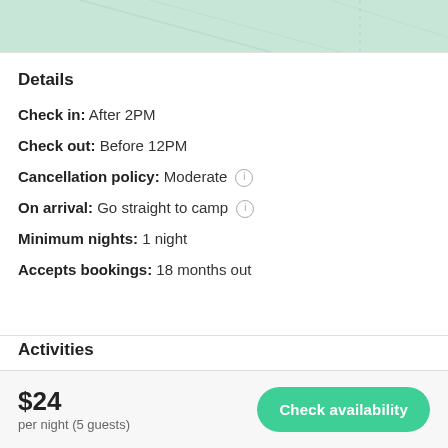[Figure (photo): Top portion of a decorative nature/leaf image with mint green tones, partially cropped]
Details
Check in: After 2PM
Check out: Before 12PM
Cancellation policy: Moderate
On arrival: Go straight to camp
Minimum nights: 1 night
Accepts bookings: 18 months out
Activities
Offered on the Host's property or nearby.
$24 per night (5 guests)
Check availability